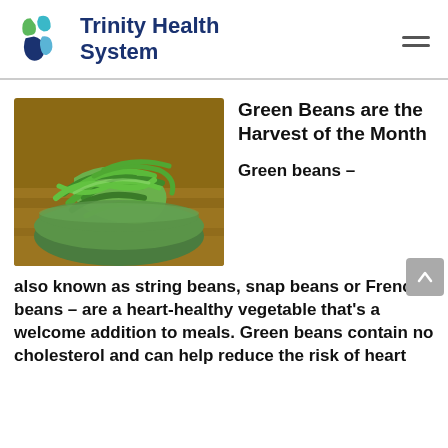Trinity Health System
[Figure (photo): A pile of fresh green beans in a green bowl on a wooden surface]
Green Beans are the Harvest of the Month
Green beans – also known as string beans, snap beans or French beans – are a heart-healthy vegetable that's a welcome addition to meals. Green beans contain no cholesterol and can help reduce the risk of heart